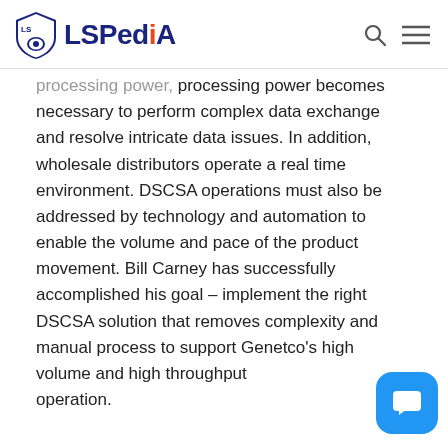LSPediA
processing power becomes necessary to perform complex data exchange and resolve intricate data issues. In addition, wholesale distributors operate a real time environment. DSCSA operations must also be addressed by technology and automation to enable the volume and pace of the product movement. Bill Carney has successfully accomplished his goal – implement the right DSCSA solution that removes complexity and manual process to support Genetco's high volume and high throughput operation.